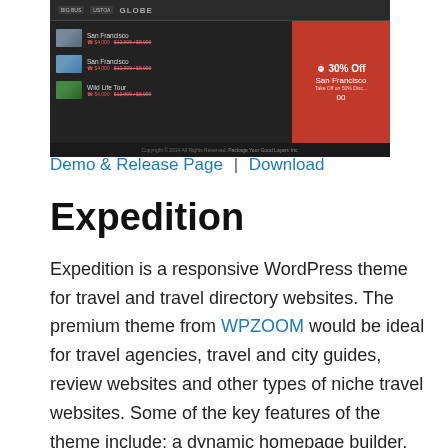[Figure (screenshot): Dark-themed travel website screenshot showing a logo bar with GLOBE branding, a list of travel destinations including San Francisco and Wild Life Tour with thumbnail images and pricing, and a red promotional banner showing 30% Off San Francisco deal.]
Demo & Release Page | Download
Expedition
Expedition is a responsive WordPress theme for travel and travel directory websites. The premium theme from WPZOOM would be ideal for travel agencies, travel and city guides, review websites and other types of niche travel websites. Some of the key features of the theme include: a dynamic homepage builder, homepage slideshow, directory page templates (3 or 4 columns), responsive layout, colour and font